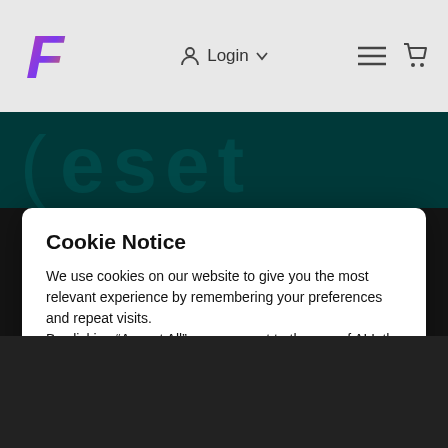Login
[Figure (screenshot): Website screenshot showing a cookie consent modal dialog over a dark page with an ESET banner. Header has a logo, Login button, hamburger menu and cart icon.]
Cookie Notice
We use cookies on our website to give you the most relevant experience by remembering your preferences and repeat visits.
By clicking “Accept All”, you consent to the use of ALL the cookies. However, you may visit "Cookie Settings" to provide a controlled consent.
Cookie Settings
Accept All
© 2021 Freecom Internet Services Limited
Company Reg No: 0665746461
VAT Reg No: GB 978 6092 61